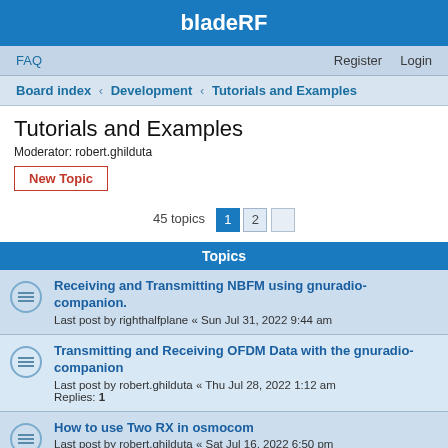bladeRF
FAQ   Register   Login
Board index › Development › Tutorials and Examples
Tutorials and Examples
Moderator: robert.ghilduta
New Topic
45 topics   1   2
Topics
Receiving and Transmitting NBFM using gnuradio-companion.
Last post by righthalfplane « Sun Jul 31, 2022 9:44 am
Transmitting and Receiving OFDM Data with the gnuradio-companion
Last post by robert.ghilduta « Thu Jul 28, 2022 1:12 am
Replies: 1
How to use Two RX in osmocom
Last post by robert.ghilduta « Sat Jul 16, 2022 6:50 pm
Replies: 8
BladeRF xa5 - Creating an all Frequency Power Spectrum